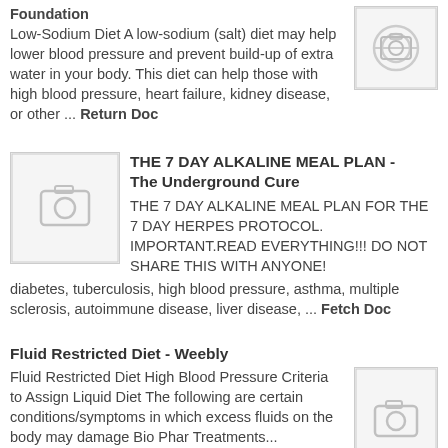Foundation Low-Sodium Diet A low-sodium (salt) diet may help lower blood pressure and prevent build-up of extra water in your body. This diet can help those with high blood pressure, heart failure, kidney disease, or other ... Return Doc
[Figure (photo): Placeholder image thumbnail with camera icon]
THE 7 DAY ALKALINE MEAL PLAN - The Underground Cure
THE 7 DAY ALKALINE MEAL PLAN FOR THE 7 DAY HERPES PROTOCOL. IMPORTANT.READ EVERYTHING!!! DO NOT SHARE THIS WITH ANYONE! diabetes, tuberculosis, high blood pressure, asthma, multiple sclerosis, autoimmune disease, liver disease, ... Fetch Doc
[Figure (photo): Placeholder image thumbnail with camera icon]
Fluid Restricted Diet - Weebly
Fluid Restricted Diet High Blood Pressure Criteria to Assign Liquid Diet The following are certain conditions/symptoms in which excess fluids on the body may damage Bio Phar Treatments...
[Figure (photo): Placeholder image thumbnail with camera icon]